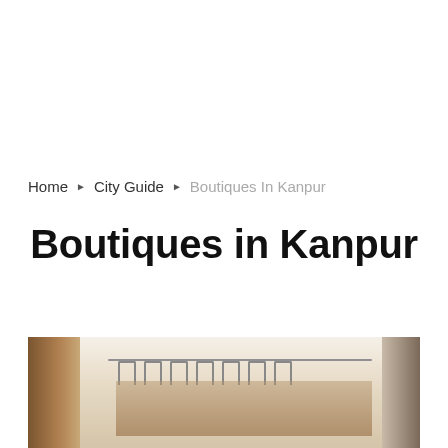Home ▶ City Guide ▶ Boutiques In Kanpur
Boutiques in Kanpur
[Figure (photo): Interior of a clothing boutique showing a garment rack with hangers and clothes, warm neutral tones with a dark wooden element on the left side]